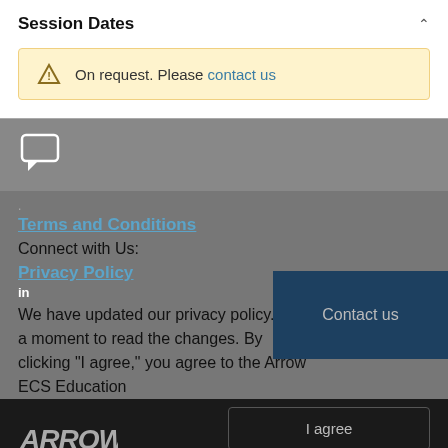Session Dates
On request. Please contact us
[Figure (other): Chat/comment icon (speech bubble outline)]
.
Terms and Conditions
Connect with Us:
Privacy Policy
We have updated our privacy policy. Take a moment to read the changes. By clicking "I agree," you agree to the Arrow ECS Education
Contact us
[Figure (logo): Arrow logo in italic bold style]
I agree